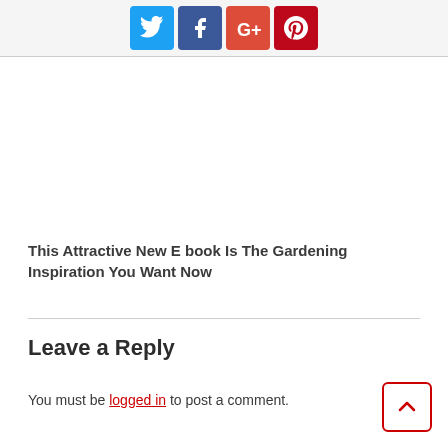[Figure (other): Social media sharing icons: Twitter (blue), Facebook (dark blue), Google+ (red-orange), Pinterest (dark red)]
This Attractive New E book Is The Gardening Inspiration You Want Now
Leave a Reply
You must be logged in to post a comment.